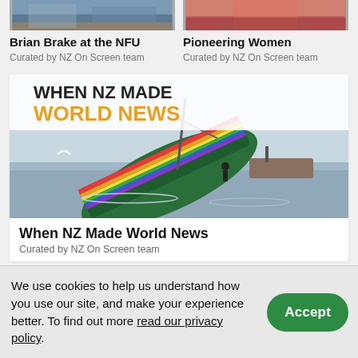[Figure (photo): Cropped thumbnail image for Brian Brake at the NFU collection]
Brian Brake at the NFU
Curated by NZ On Screen team
[Figure (photo): Cropped thumbnail image for Pioneering Women collection]
Pioneering Women
Curated by NZ On Screen team
[Figure (photo): When NZ Made World News collection image showing a sinking vessel (Rainbow Warrior) with text overlay 'WHEN NZ MADE WORLD NEWS']
When NZ Made World News
Curated by NZ On Screen team
We use cookies to help us understand how you use our site, and make your experience better. To find out more read our privacy policy.